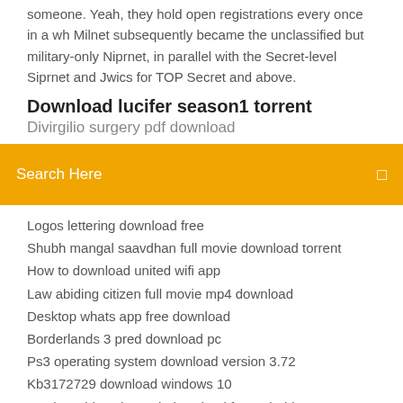someone. Yeah, they hold open registrations every once in a wh Milnet subsequently became the unclassified but military-only Niprnet, in parallel with the Secret-level Siprnet and Jwics for TOP Secret and above.
Download lucifer season1 torrent
Divirgilio surgery pdf download
Search Here
Logos lettering download free
Shubh mangal saavdhan full movie download torrent
How to download united wifi app
Law abiding citizen full movie mp4 download
Desktop whats app free download
Borderlands 3 pred download pc
Ps3 operating system download version 3.72
Kb3172729 download windows 10
Monkey video chat apk download for android
Download destiny 2 free pc